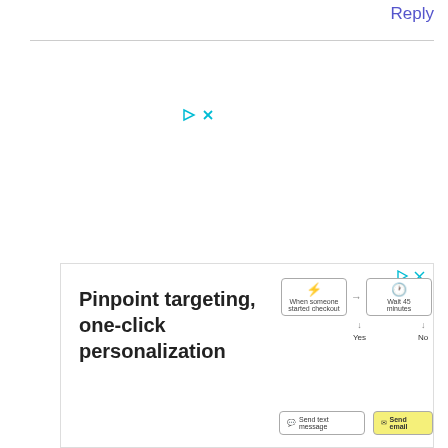Reply
[Figure (screenshot): Small teal play and close icons for an ad]
[Figure (screenshot): Advertisement banner: Pinpoint targeting, one-click personalization with flowchart showing SMS/email targeting workflow]